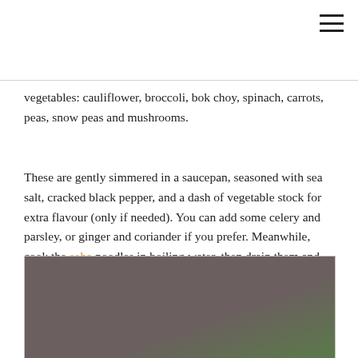vegetables: cauliflower, broccoli, bok choy, spinach, carrots, peas, snow peas and mushrooms.
These are gently simmered in a saucepan, seasoned with sea salt, cracked black pepper, and a dash of vegetable stock for extra flavour (only if needed). You can add some celery and parsley, or ginger and coriander if you prefer. Meanwhile, cook the soba noodles in boiling water, then drain them and add to the soup when you serve it. Fresh, fast and tasty.
[Figure (photo): A dark brownish-grey photo showing what appears to be a bowl or dish, with a hint of green in the lower right corner.]